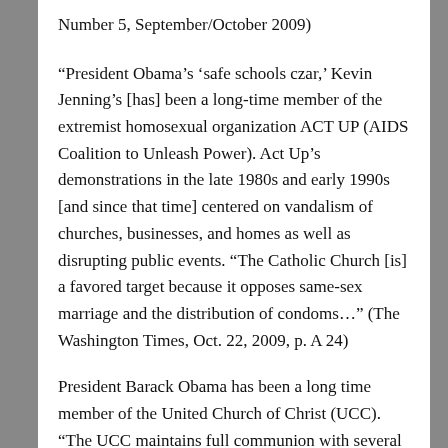Number 5, September/October 2009)
“President Obama’s ‘safe schools czar,’ Kevin Jenning’s [has] been a long-time member of the extremist homosexual organization ACT UP (AIDS Coalition to Unleash Power). Act Up’s demonstrations in the late 1980s and early 1990s [and since that time] centered on vandalism of churches, businesses, and homes as well as disrupting public events. “The Catholic Church [is] a favored target because it opposes same-sex marriage and the distribution of condoms…” (The Washington Times, Oct. 22, 2009, p. A 24)
President Barack Obama has been a long time member of the United Church of Christ (UCC). “The UCC maintains full communion with several